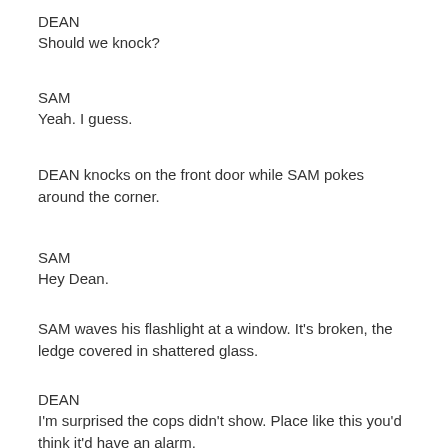DEAN
Should we knock?
SAM
Yeah. I guess.
DEAN knocks on the front door while SAM pokes around the corner.
SAM
Hey Dean.
SAM waves his flashlight at a window. It's broken, the ledge covered in shattered glass.
DEAN
I'm surprised the cops didn't show. Place like this you'd think it'd have an alarm.